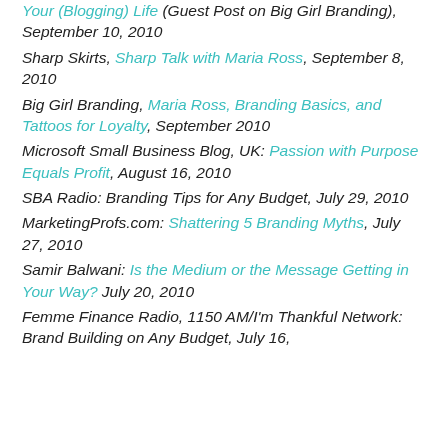Your (Blogging) Life (Guest Post on Big Girl Branding), September 10, 2010
Sharp Skirts, Sharp Talk with Maria Ross, September 8, 2010
Big Girl Branding, Maria Ross, Branding Basics, and Tattoos for Loyalty, September 2010
Microsoft Small Business Blog, UK: Passion with Purpose Equals Profit, August 16, 2010
SBA Radio: Branding Tips for Any Budget, July 29, 2010
MarketingProfs.com: Shattering 5 Branding Myths, July 27, 2010
Samir Balwani: Is the Medium or the Message Getting in Your Way? July 20, 2010
Femme Finance Radio, 1150 AM/I'm Thankful Network: Brand Building on Any Budget, July 16,